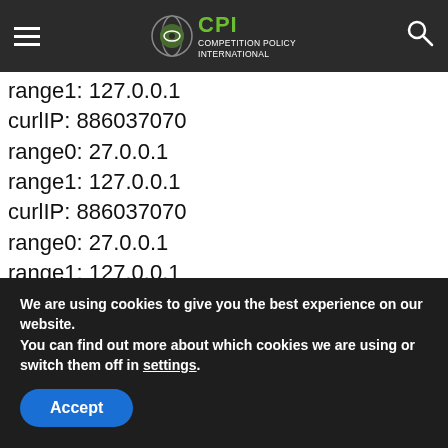CPI COMPETITION POLICY INTERNATIONAL
range1: 127.0.0.1
curlIP: 886037070
range0: 27.0.0.1
range1: 127.0.0.1
curlIP: 886037070
range0: 27.0.0.1
range1: 127.0.0.1
curlIP: 886037070
range0: 27.0.0.1
range1: 127.0.0.1
curlIP: 886037070
range0: 27.0.0.1
We are using cookies to give you the best experience on our website.
You can find out more about which cookies we are using or switch them off in settings.